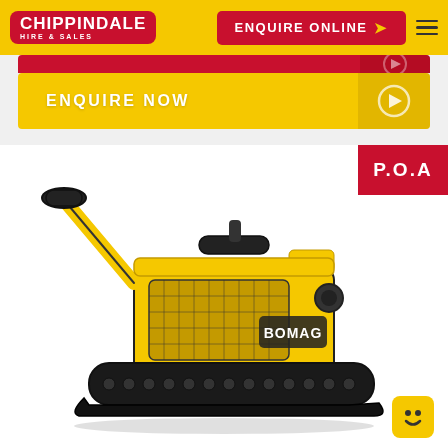CHIPPINDALE HIRE & SALES — ENQUIRE ONLINE
[Figure (other): Yellow ENQUIRE NOW button with arrow on golden background]
[Figure (photo): BOMAG yellow and black tracked plate compactor / vibratory compactor machine on white background. Price badge shows P.O.A.]